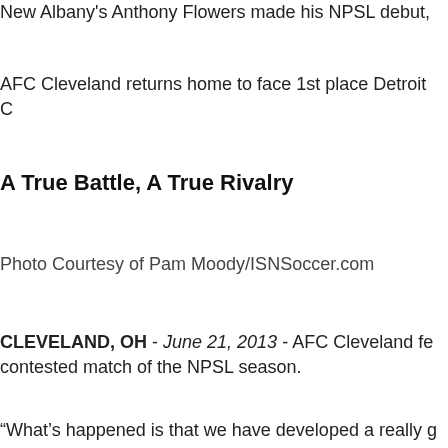New Albany's Anthony Flowers made his NPSL debut,
AFC Cleveland returns home to face 1st place Detroit C
A True Battle, A True Rivalry
Photo Courtesy of Pam Moody/ISNSoccer.com
CLEVELAND, OH - June 21, 2013 - AFC Cleveland fe contested match of the NPSL season.
“What’s happened is that we have developed a really g a lot of ways. It’s fun to have two good teams playing in
The Royals were the first on the board thanks to a header from Tommy Schmitt in the 5th minute. Tom Beck would get the credit for the assist after launching a beautiful cross to set up the goal.
Detroit would even things up at 1-1 as Lachlan Savage scored off a Jeff Adkins cross just 5 minutes later.